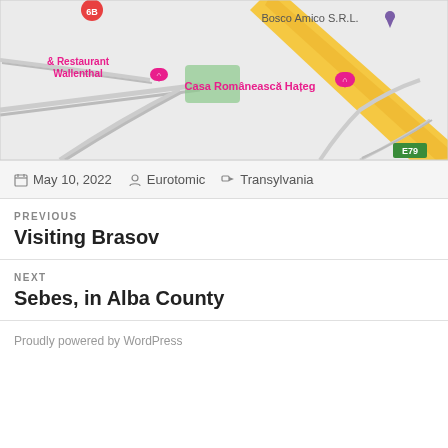[Figure (map): Google Maps screenshot showing roads near Hateg, Romania. Visible labels include 'Bosco Amico S.R.L.', '& Restaurant Wallenthal', 'Casa Românească Hațeg', road marker '6B', and highway marker 'E79'. Map shows a road junction with a yellow highway and grey roads on a light grey background.]
May 10, 2022   Eurotomic   Transylvania
PREVIOUS
Visiting Brasov
NEXT
Sebes, in Alba County
Proudly powered by WordPress